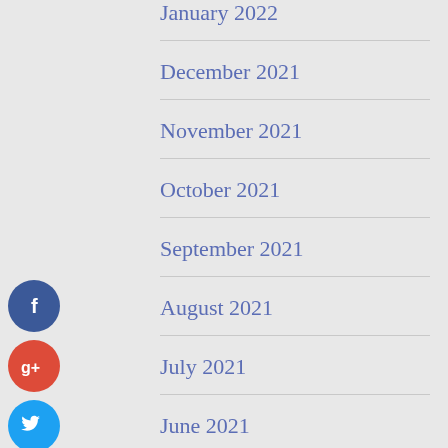January 2022
December 2021
November 2021
October 2021
September 2021
August 2021
July 2021
June 2021
May 2021
April 2021
[Figure (infographic): Social media sharing icons: Facebook (blue circle), Google+ (red circle), Twitter (cyan circle), More/Add (dark navy circle)]